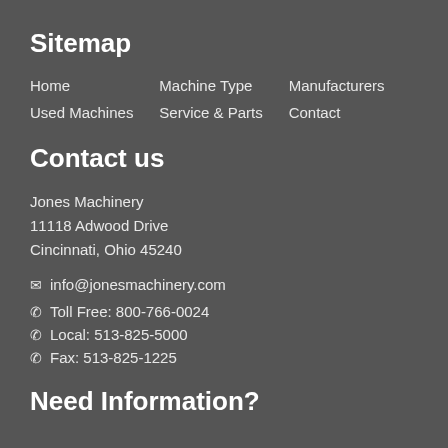Sitemap
Home
Machine Type
Manufacturers
Used Machines
Service & Parts
Contact
Contact us
Jones Machinery
11118 Adwood Drive
Cincinnati, Ohio 45240
info@jonesmachinery.com
Toll Free: 800-766-0024
Local: 513-825-5000
Fax: 513-825-1225
Need Information?